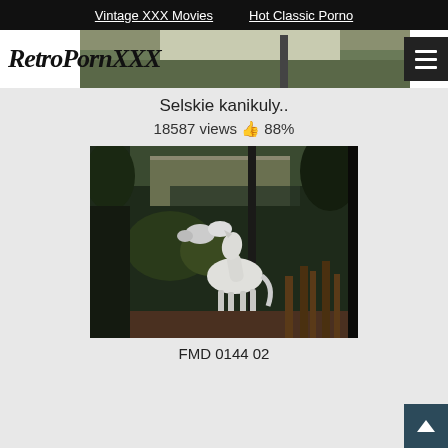Vintage XXX Movies   Hot Classic Porno
RetroPornXXX
[Figure (screenshot): Partial preview strip of a video thumbnail at the top]
Selskie kanikuly..
18587 views 👍 88%
[Figure (photo): A white horse standing in a garden/yard with trees and wooden structures in background, dark/overcast scene]
FMD 0144 02